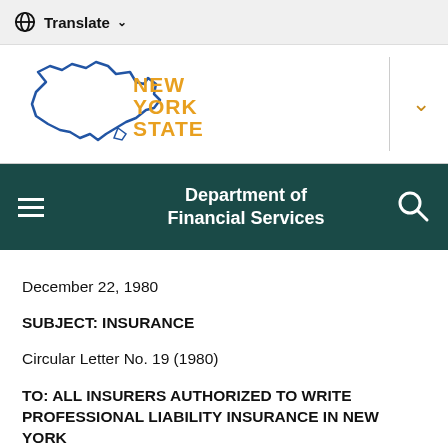Translate ▾
[Figure (logo): New York State logo with outline of NY state in blue and 'NEW YORK STATE' text in orange/gold]
Department of Financial Services
December 22, 1980
SUBJECT: INSURANCE
Circular Letter No. 19 (1980)
TO: ALL INSURERS AUTHORIZED TO WRITE PROFESSIONAL LIABILITY INSURANCE IN NEW YORK